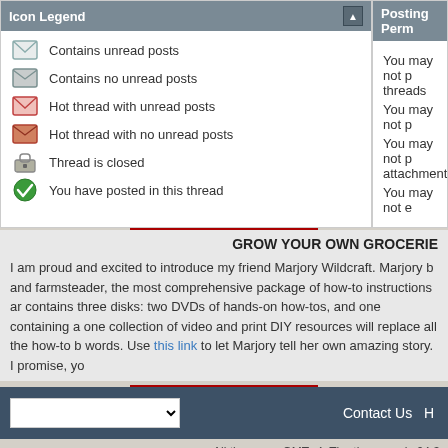Icon Legend
Contains unread posts
Contains no unread posts
Hot thread with unread posts
Hot thread with no unread posts
Thread is closed
You have posted in this thread
Posting Perm
You may not p threads
You may not p
You may not p attachments
You may not e
GROW YOUR OWN GROCERIE
I am proud and excited to introduce my friend Marjory Wildcraft. Marjory b and farmsteader, the most comprehensive package of how-to instructions ar contains three disks: two DVDs of hands-on how-tos, and one containing a one collection of video and print DIY resources will replace all the how-to b words. Use this link to let Marjory tell her own amazing story. I promise, yo
Contact Us H
All times are GMT -4. The time now is 04:3
Powered by vBulletin® Version 4.2.5
Copyright © 2022 vBulletin Solutions Inc. All righ